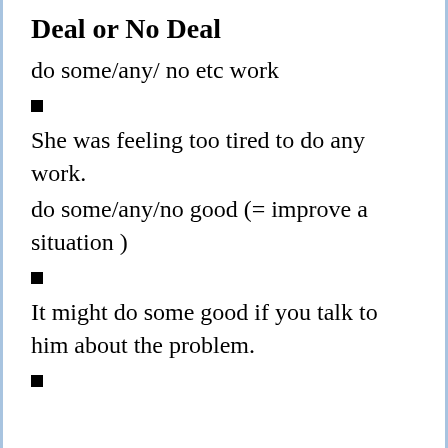Deal or No Deal
do some/any/ no etc work
■
She was feeling too tired to do any work.
do some/any/no good (= improve a situation )
■
It might do some good if you talk to him about the problem.
■